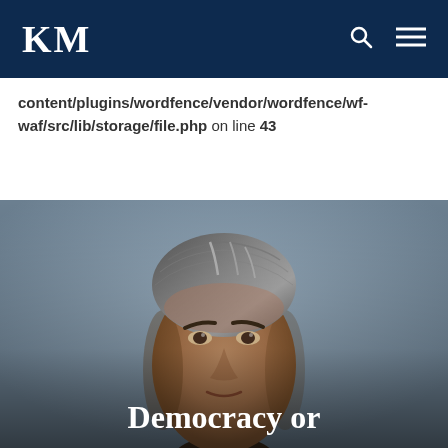KM
content/plugins/wordfence/vendor/wordfence/wf-waf/src/lib/storage/file.php on line 43
[Figure (photo): Portrait photo of a middle-aged man with gray-streaked dark hair combed back, wearing dark clothing, against a gray-blue background.]
Democracy or